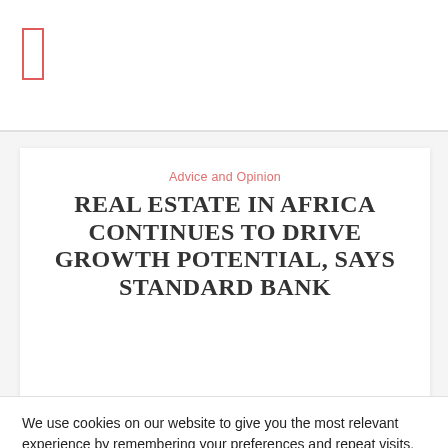Advice and Opinion
REAL ESTATE IN AFRICA CONTINUES TO DRIVE GROWTH POTENTIAL, SAYS STANDARD BANK
We use cookies on our website to give you the most relevant experience by remembering your preferences and repeat visits. By clicking “Accept All”, you consent to the use of ALL the cookies. However, you may visit "Cookie Settings" to provide a controlled consent.
Cookie Settings   Accept All